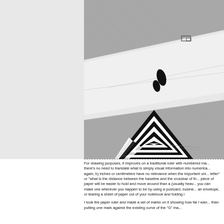[Figure (photo): A photo of a paper ruler (white strip of paper with pencil marks) lying on a gray desk surface, with a black-and-white geometric triangular design peeking out from underneath.]
For drawing purposes, it improves on a traditional ruler with numbered markings because a) there's no need to translate what is simply visual information into numerical form and then back again, b) inches or centimeters have no relevance when the important unit is "how tall is this letter" or "what is the distance between the baseline and the crossbar of this letter," c) a piece of paper will be easier to hold and move around than a (usually heavy) ruler, and d) you can make one wherever you happen to be by using a postcard, business card, the flap of an envelope, or tearing a sheet of paper out of your notebook and folding it.
I took the paper ruler and made a set of marks on it showing how far I wan... then putting one mark against the existing curve of the "G" ma...